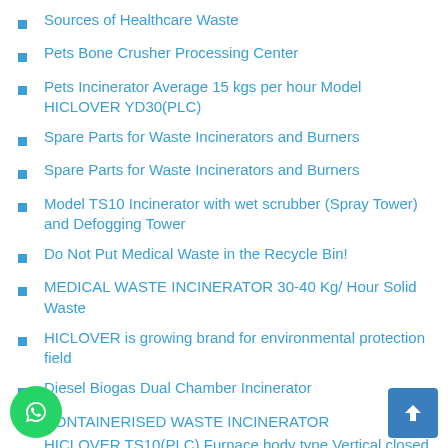Sources of Healthcare Waste
Pets Bone Crusher Processing Center
Pets Incinerator Average 15 kgs per hour Model HICLOVER YD30(PLC)
Spare Parts for Waste Incinerators and Burners
Spare Parts for Waste Incinerators and Burners
Model TS10 Incinerator with wet scrubber (Spray Tower) and Defogging Tower
Do Not Put Medical Waste in the Recycle Bin!
MEDICAL WASTE INCINERATOR 30-40 Kg/ Hour Solid Waste
HICLOVER is growing brand for environmental protection field
Diesel Biogas Dual Chamber Incinerator
CONTAINERISED WASTE INCINERATOR
HICLOVER TS10(PLC) Furnace body type Vertical closed furnace combustion chamber